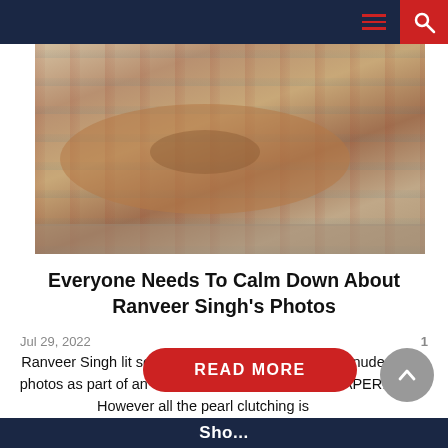Navigation bar with hamburger menu and search button
[Figure (photo): A person lying nude on an ornate patterned rug/carpet on the floor, viewed from above at an angle. The photograph appears to be a professional fashion/art shoot.]
Everyone Needs To Calm Down About Ranveer Singh's Photos
Jul 29, 2022
1
Ranveer Singh lit social on fire with his risque semi-nude photos as part of an extensive story published in PAPER. However all the pearl clutching is
READ MORE
Sho...